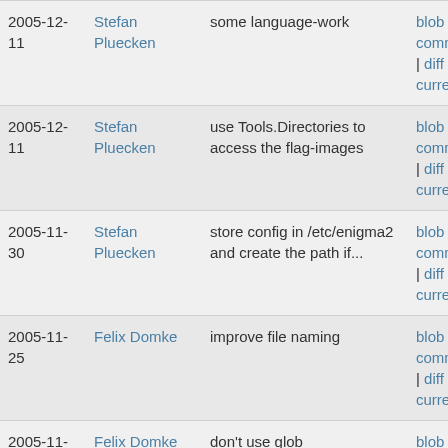| Date | Author | Description | Links |
| --- | --- | --- | --- |
| 2005-12-11 | Stefan Pluecken | some language-work | blob | commitdiff | diff to current |
| 2005-12-11 | Stefan Pluecken | use Tools.Directories to access the flag-images | blob | commitdiff | diff to current |
| 2005-11-30 | Stefan Pluecken | store config in /etc/enigma2 and create the path if... | blob | commitdiff | diff to current |
| 2005-11-25 | Felix Domke | improve file naming | blob | commitdiff | diff to current |
| 2005-11-16 | Felix Domke | don't use glob | blob | commitdiff |